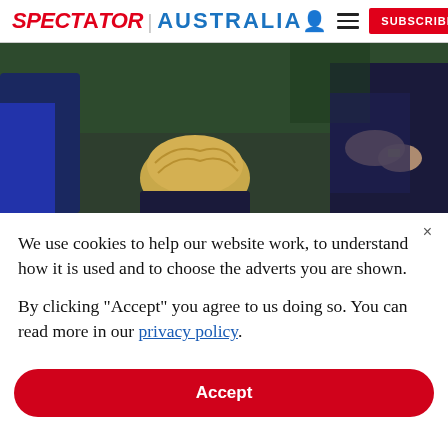SPECTATOR | AUSTRALIA  [person icon] [menu icon]  SUBSCRIBE
[Figure (photo): Photo of a blonde-haired person with head bowed, seated among others in what appears to be a parliamentary or official setting with green benches visible in background.]
We use cookies to help our website work, to understand how it is used and to choose the adverts you are shown.
By clicking "Accept" you agree to us doing so. You can read more in our privacy policy.
Accept